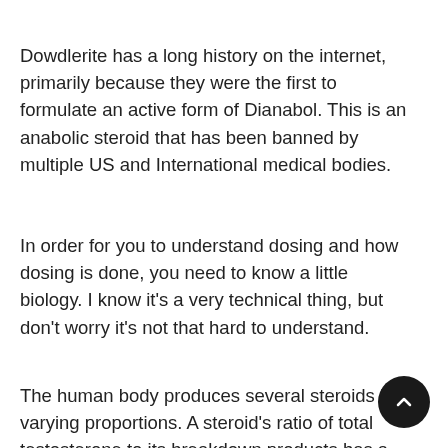Dowdlerite has a long history on the internet, primarily because they were the first to formulate an active form of Dianabol. This is an anabolic steroid that has been banned by multiple US and International medical bodies.
In order for you to understand dosing and how dosing is done, you need to know a little biology. I know it's a very technical thing, but don't worry it's not that hard to understand.
The human body produces several steroids in varying proportions. A steroid's ratio of total testosterone to its breakdown products has a huge impact on the effectiveness of a steroid. A common steroid is testosterone. There is a wide range of testosterone levels for your body, but the ratio of total testosterone to its breakdown products